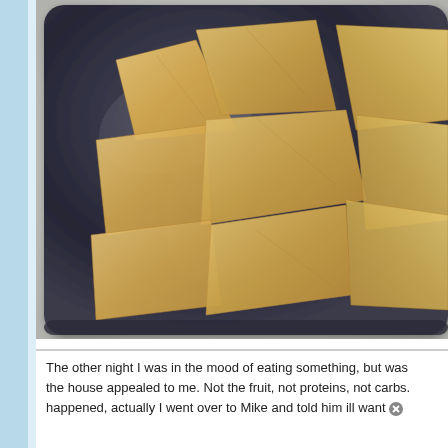[Figure (photo): A black square plate holding several triangular pita chip-like crackers or pastries, arranged in a pile. The plate sits on a light gray surface. The image is cropped and shows the food from a slight overhead angle.]
The other night I was in the mood of eating something, but was not sure what. Nothing in the house appealed to me. Not the fruit, not proteins, not carbs. And then it happened, actually I went over to Mike and told him ill want to...